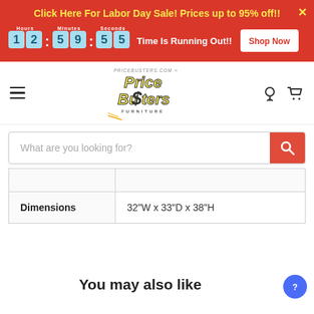Click Here For Labor Day Sale! Prices up to 95% off!! 12:59:55 Time Is Running Out!! Shop Now
[Figure (logo): Price Busters Furniture logo with yellow stylized text and PRICEBUSTERS.COM text above]
What are you looking for?
| Dimensions | 32"W x 33"D x 38"H |
You may also like